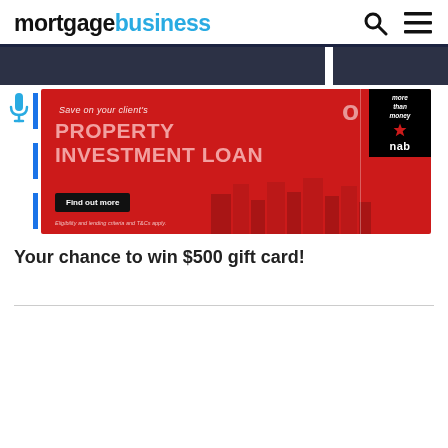mortgagebusiness
[Figure (screenshot): NAB Property Investment Loan advertisement banner on a red background. Text reads: 'Save on your client's PROPERTY INVESTMENT LOAN'. Features 'more than money' NAB branding with star logo. Button: 'Find out more'. Fine print: 'Eligibility and lending criteria and T&Cs apply.']
Your chance to win $500 gift card!